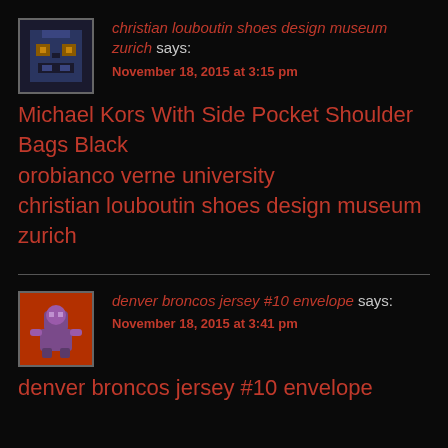christian louboutin shoes design museum zurich says:
November 18, 2015 at 3:15 pm
Michael Kors With Side Pocket Shoulder Bags Black
orobianco verne university
christian louboutin shoes design museum zurich
denver broncos jersey #10 envelope says:
November 18, 2015 at 3:41 pm
denver broncos jersey #10 envelope